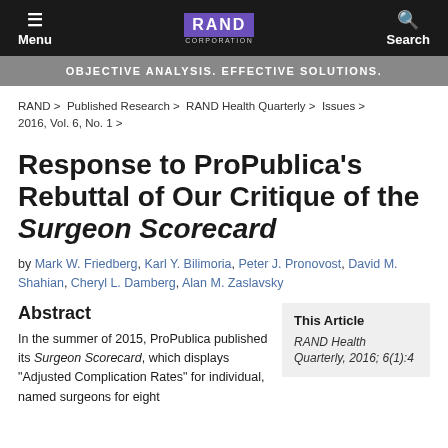Menu | RAND CORPORATION | Search
OBJECTIVE ANALYSIS. EFFECTIVE SOLUTIONS.
RAND > Published Research > RAND Health Quarterly > Issues > 2016, Vol. 6, No. 1 >
Response to ProPublica's Rebuttal of Our Critique of the Surgeon Scorecard
by Mark W. Friedberg, Karl Y. Bilimoria, Peter J. Pronovost, David M. Shahian, Cheryl L. Damberg, Alan M. Zaslavsky
Abstract
In the summer of 2015, ProPublica published its Surgeon Scorecard, which displays “Adjusted Complication Rates” for individual, named surgeons for eight
This Article
RAND Health Quarterly, 2016; 6(1):4